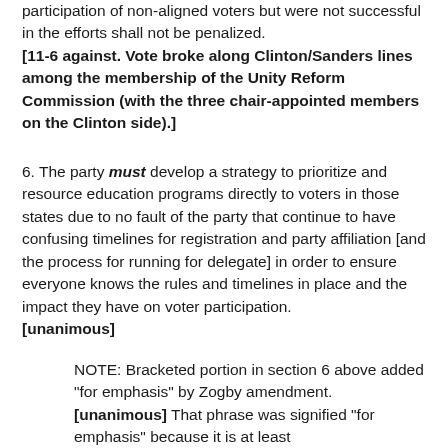participation of non-aligned voters but were not successful in the efforts shall not be penalized. [11-6 against. Vote broke along Clinton/Sanders lines among the membership of the Unity Reform Commission (with the three chair-appointed members on the Clinton side).]
6. The party must develop a strategy to prioritize and resource education programs directly to voters in those states due to no fault of the party that continue to have confusing timelines for registration and party affiliation [and the process for running for delegate] in order to ensure everyone knows the rules and timelines in place and the impact they have on voter participation. [unanimous]
NOTE: Bracketed portion in section 6 above added "for emphasis" by Zogby amendment. [unanimous] That phrase was signified "for emphasis" because it is at least